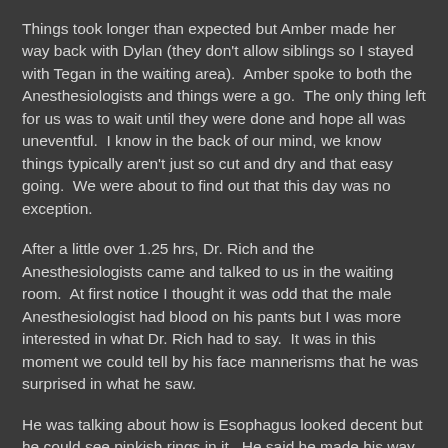Things took longer than expected but Amber made her way back with Dylan (they don't allow siblings so I stayed with Tegan in the waiting area). Amber spoke to both the Anesthesiologists and things were a go. The only thing left for us was to wait until they were done and hope all was uneventful. I know in the back of our mind, we know things typically aren't just so cut and dry and that easy going. We were about to find out that this day was no exception.
After a little over 1.25 hrs, Dr. Rich and the Anesthesiologists came and talked to us in the waiting room. At first notice I thought it was odd that the male Anesthesiologist had blood on his pants but I was more interested in what Dr. Rich had to say. It was in this moment we could tell by his face mannerisms that he was surprised in what he saw.
He was talking about how is Esophagus looked decent but he could see pinkish rings in it. He said he made his way through his stomach and out to his duodenum (this is the sharp turn off the stomach that connects to the small intestine), he said the outlet of his stomach was thickened, he said the Duodenum was thickened and he hard a really hard time, almost impossible time, getting through it. He then